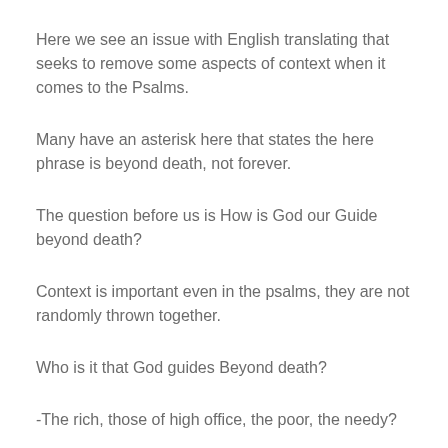Here we see an issue with English translating that seeks to remove some aspects of context when it comes to the Psalms.
Many have an asterisk here that states the here phrase is beyond death, not forever.
The question before us is How is God our Guide beyond death?
Context is important even in the psalms, they are not randomly thrown together.
Who is it that God guides Beyond death?
-The rich, those of high office, the poor, the needy?
-The psalmist hears puts to song his answer. Gives us wisdom